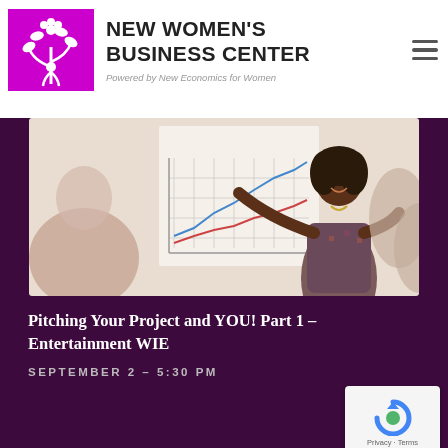[Figure (logo): New Women's Business Center logo: purple square with white tree/flower design and a woman figure]
NEW WOMEN'S BUSINESS CENTER
Powered by New Economics for Women
[Figure (photo): A woman presenter pointing at a chart board with a line graph, smiling at an audience]
Pitching Your Project and YOU! Part 1 – Entertainment WIE
SEPTEMBER 2 – 5:30 PM
[Figure (logo): reCAPTCHA badge with circular arrow icon and Privacy - Terms text]